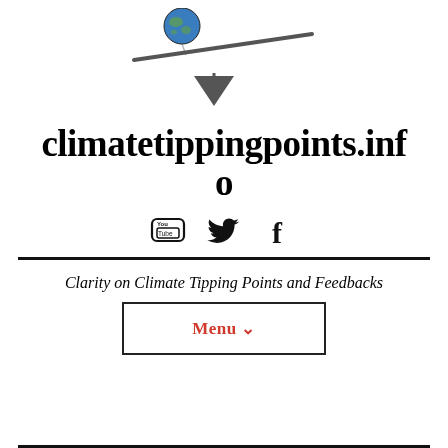[Figure (logo): A seesaw/balance illustration with a globe (Earth) resting on the left side of a tilted bar balanced on a triangle fulcrum, rendered in black and white/grayscale.]
climatetippingpoints.info
[Figure (infographic): Social media icons: YouTube, Twitter (bird), and Facebook (f) in black.]
Clarity on Climate Tipping Points and Feedbacks
Menu ∨